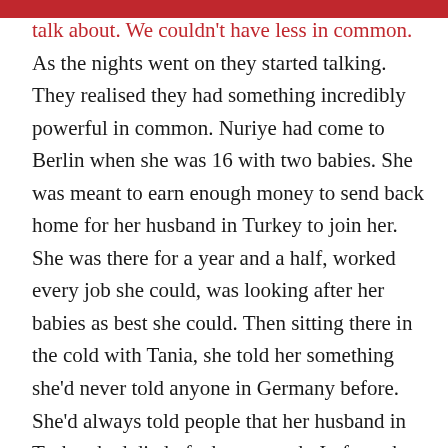talk about. We couldn't have less in common. As the nights went on they started talking. They realised they had something incredibly powerful in common. Nuriye had come to Berlin when she was 16 with two babies. She was meant to earn enough money to send back home for her husband in Turkey to join her. She was there for a year and a half, worked every job she could, was looking after her babies as best she could. Then sitting there in the cold with Tania, she told her something she'd never told anyone in Germany before. She'd always told people that her husband in Turkey had died of a heart attack. In fact, she told Tania, he died of tuberculosis which was seen as a shameful disease of poverty at that time. That's when Tania told Nuriye something she never talked about. Tania had been abused when she was 15, they went to…